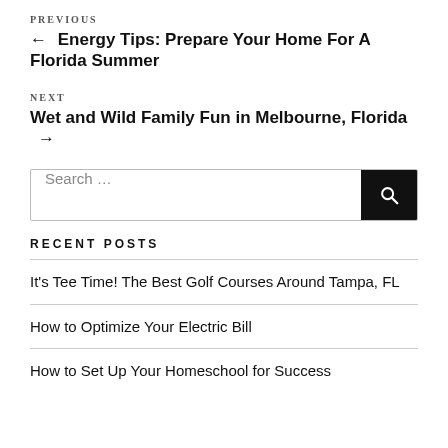← Energy Tips: Prepare Your Home For A Florida Summer
Wet and Wild Family Fun in Melbourne, Florida →
Search …
RECENT POSTS
It's Tee Time! The Best Golf Courses Around Tampa, FL
How to Optimize Your Electric Bill
How to Set Up Your Homeschool for Success